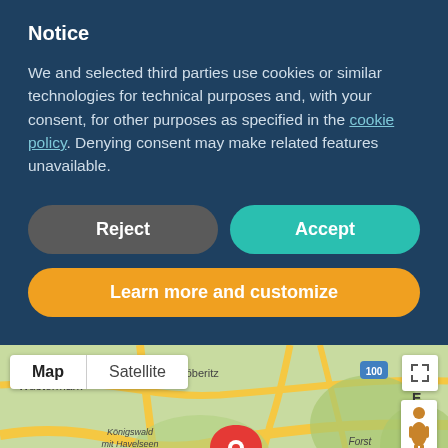Notice
We and selected third parties use cookies or similar technologies for technical purposes and, with your consent, for other purposes as specified in the cookie policy. Denying consent may make related features unavailable.
Reject
Accept
Learn more and customize
[Figure (map): Google Maps view showing Berlin area including Königswald mit Havelseen und Seeburger Agrarlandschaft, Forst Grunewald, Wustermark, Dallgow-Döberitz labels, with a red location pin marker. Map/Satellite toggle visible at top left.]